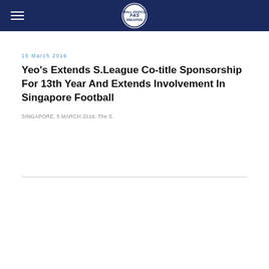Football Association of Singapore
15 March 2016
Yeo's Extends S.League Co-title Sponsorship For 13th Year And Extends Involvement In Singapore Football
SINGAPORE, 5 MARCH 2016: The S.